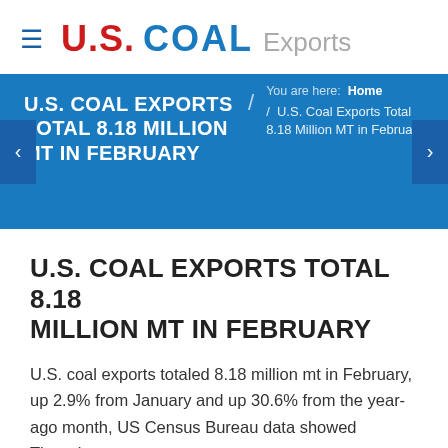U.S. COAL Exports
U.S. COAL EXPORTS TOTAL 8.18 MILLION MT IN FEBRUARY
You are here: Home / U.S. Coal Exports Total 8.18 Million MT in February
U.S. COAL EXPORTS TOTAL 8.18 MILLION MT IN FEBRUARY
U.S. coal exports totaled 8.18 million mt in February, up 2.9% from January and up 30.6% from the year-ago month, US Census Bureau data showed Thursday.
The slight gain in monthly volumes from